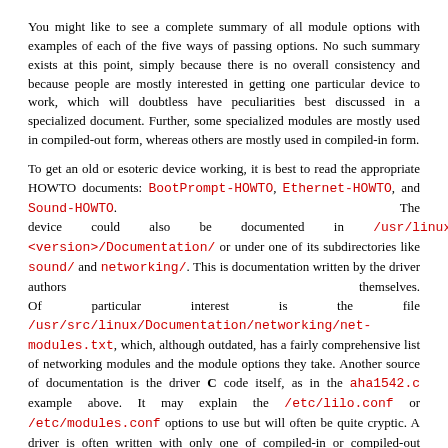You might like to see a complete summary of all module options with examples of each of the five ways of passing options. No such summary exists at this point, simply because there is no overall consistency and because people are mostly interested in getting one particular device to work, which will doubtless have peculiarities best discussed in a specialized document. Further, some specialized modules are mostly used in compiled-out form, whereas others are mostly used in compiled-in form.
To get an old or esoteric device working, it is best to read the appropriate HOWTO documents: BootPrompt-HOWTO, Ethernet-HOWTO, and Sound-HOWTO. The device could also be documented in /usr/linux-<version>/Documentation/ or under one of its subdirectories like sound/ and networking/. This is documentation written by the driver authors themselves. Of particular interest is the file /usr/src/linux/Documentation/networking/net-modules.txt, which, although outdated, has a fairly comprehensive list of networking modules and the module options they take. Another source of documentation is the driver C code itself, as in the aha1542.c example above. It may explain the /etc/lilo.conf or /etc/modules.conf options to use but will often be quite cryptic. A driver is often written with only one of compiled-in or compiled-out support in mind (even though it really supports both). Choose whether to compile-in or compiled-out based on what is implied in the documentation or C source.
42.6 Configuring Various Devices
Further examples on getting common devices to work now follow but only a few devices are discussed. See the documentation sources above for more info. We concentrate here on what is normally done.
42.6.1 Sound and modum